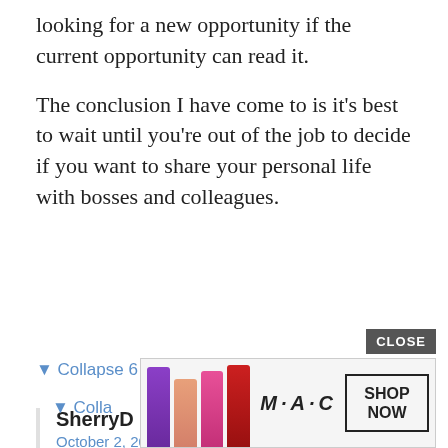looking for a new opportunity if the current opportunity can read it.
The conclusion I have come to is it's best to wait until you're out of the job to decide if you want to share your personal life with bosses and colleagues.
▼ Collapse 6 replies
SherryD
October 2, 2015 at 1:22 pm
Wow, a coworker (especially a boss!) commenting on a Facebook post from five years ago would make me really uncomfortable. And you'd think they'd have the sense to be less obvious about their snooping.
▼ Colla
[Figure (advertisement): MAC cosmetics advertisement showing lipsticks in purple, peach, pink and red colors with MAC logo and SHOP NOW button]